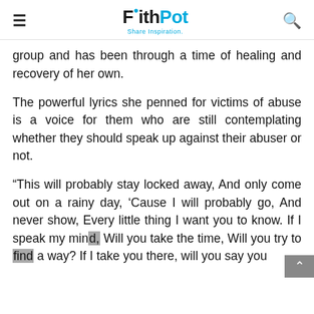FaithPot — Share Inspiration
group and has been through a time of healing and recovery of her own.
The powerful lyrics she penned for victims of abuse is a voice for them who are still contemplating whether they should speak up against their abuser or not.
“This will probably stay locked away, And only come out on a rainy day, ‘Cause I will probably go, And never show, Every little thing I want you to know. If I speak my mind, Will you take the time, Will you try to find a way? If I take you there, will you say you